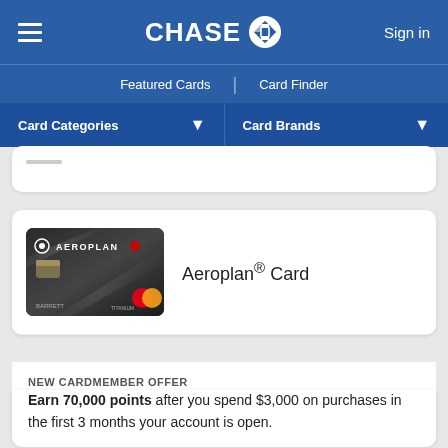CHASE | Featured Cards | Card Finder | Card Categories | Card Brands | Sign in
[Figure (other): Aeroplan Credit Card – dark metallic card with AEROPLAN branding and Mastercard logo]
Aeroplan® Card
NEW CARDMEMBER OFFER
Earn 70,000 points after you spend $3,000 on purchases in the first 3 months your account is open.